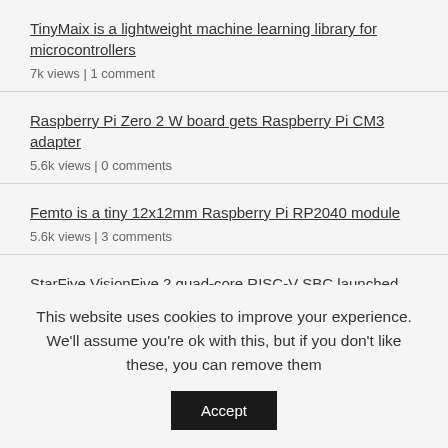TinyMaix is a lightweight machine learning library for microcontrollers
7k views | 1 comment
Raspberry Pi Zero 2 W board gets Raspberry Pi CM3 adapter
5.6k views | 0 comments
Femto is a tiny 12x12mm Raspberry Pi RP2040 module
5.6k views | 3 comments
StarFive VisionFive 2 quad-core RISC-V SBC launched for $46 and up (Crowdfunding)
This website uses cookies to improve your experience. We'll assume you're ok with this, but if you don't like these, you can remove them  Accept